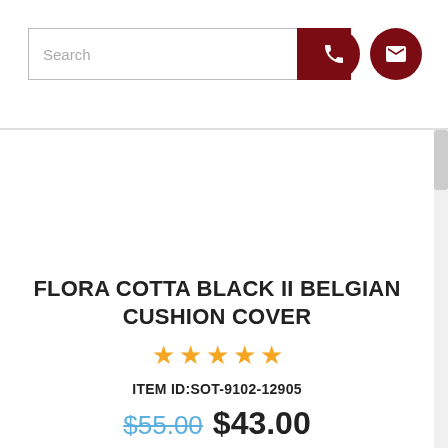Search [search button] [phone icon] [mail icon]
FLORA COTTA BLACK II BELGIAN CUSHION COVER
★★★★★
ITEM ID:SOT-9102-12905
$55.00 $43.00